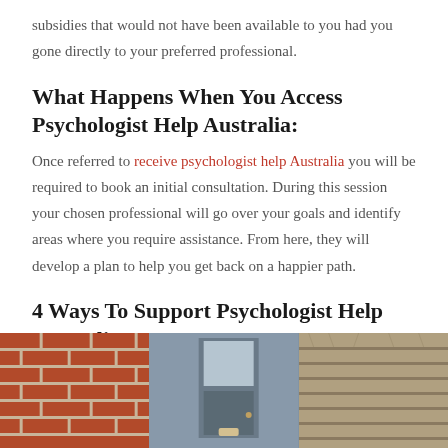subsidies that would not have been available to you had you gone directly to your preferred professional.
What Happens When You Access Psychologist Help Australia:
Once referred to receive psychologist help Australia you will be required to book an initial consultation. During this session your chosen professional will go over your goals and identify areas where you require assistance. From here, they will develop a plan to help you get back on a happier path.
4 Ways To Support Psychologist Help Australia:
[Figure (photo): A photo strip showing three exterior building materials: red brick wall on the left, a door/window facade in the center, and wooden planks on the right.]